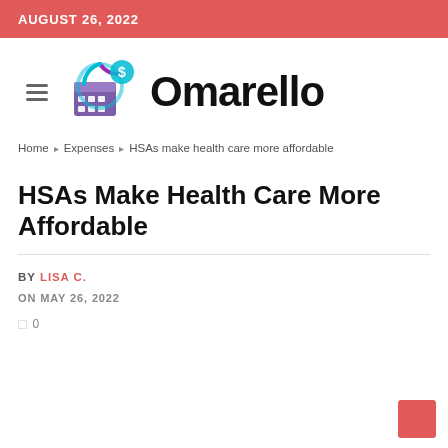AUGUST 26, 2022
[Figure (logo): Omarello logo with a calendar/dollar sign icon and large bold text 'Omarello']
Home ▸ Expenses ▸ HSAs make health care more affordable
HSAs Make Health Care More Affordable
BY LISA C.
ON MAY 26, 2022
0